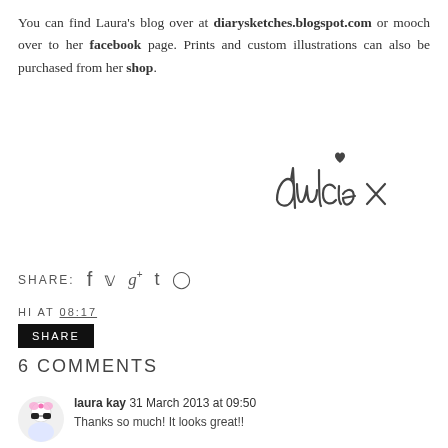You can find Laura's blog over at diarysketches.blogspot.com or mooch over to her facebook page. Prints and custom illustrations can also be purchased from her shop.
[Figure (illustration): Handwritten cursive signature reading 'dulcie x' with a small heart above the i]
SHARE: [social icons: facebook, twitter, google+, tumblr, pinterest]
HI AT 08:17
SHARE
6 COMMENTS
laura kay 31 March 2013 at 09:50
Thanks so much! It looks great!!